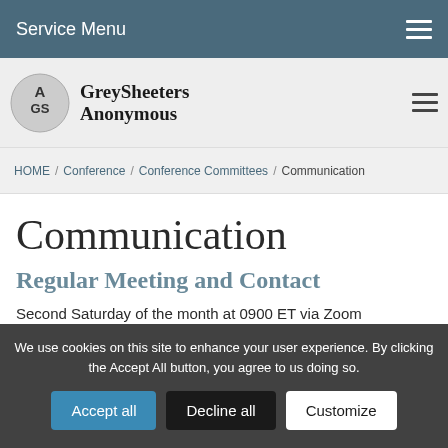Service Menu
[Figure (logo): GreySheeters Anonymous logo with circular GS emblem and bold serif text]
HOME / Conference / Conference Committees / Communication
Communication
Regular Meeting and Contact
Second Saturday of the month at 0900 ET via Zoom
We use cookies on this site to enhance your user experience. By clicking the Accept All button, you agree to us doing so.